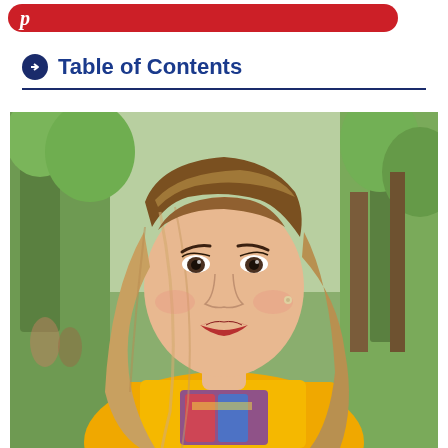[Figure (logo): Pinterest logo pill button in red/crimson color with white Pinterest 'P' icon on left]
Table of Contents
[Figure (photo): Portrait photo of a young woman with long blonde-brown hair, wearing a yellow sequined top with a purple/colorful graphic design, red lipstick, outdoors with green trees in background]